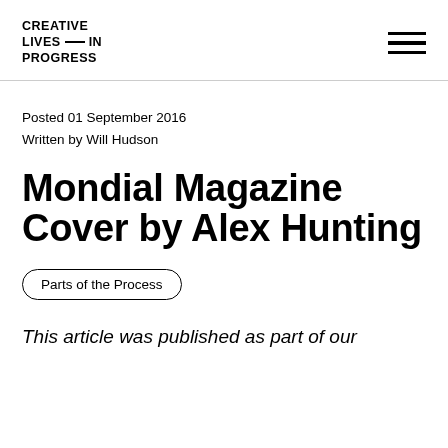CREATIVE LIVES—IN PROGRESS
Posted 01 September 2016
Written by Will Hudson
Mondial Magazine Cover by Alex Hunting
Parts of the Process
This article was published as part of our